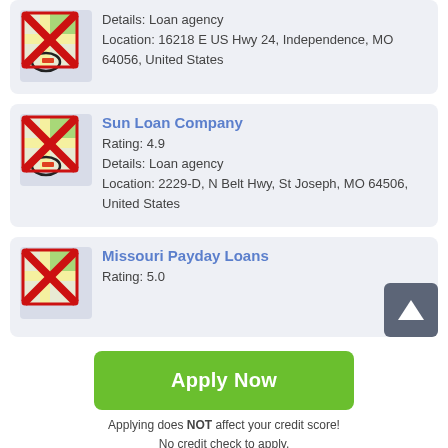[Figure (screenshot): Partial loan agency listing card showing map icon with red X, Details: Loan agency, Location: 16218 E US Hwy 24, Independence, MO 64056, United States]
Details: Loan agency
Location: 16218 E US Hwy 24, Independence, MO 64056, United States
Sun Loan Company
Rating: 4.9
Details: Loan agency
Location: 2229-D, N Belt Hwy, St Joseph, MO 64506, United States
Missouri Payday Loans
Rating: 5.0
[Figure (screenshot): Apply Now green button]
Applying does NOT affect your credit score!
No credit check to apply.